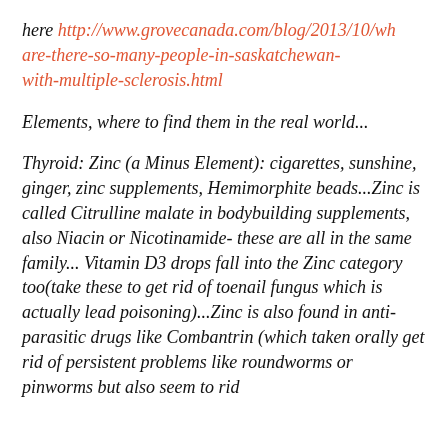here http://www.grovecanada.com/blog/2013/10/wh-are-there-so-many-people-in-saskatchewan-with-multiple-sclerosis.html
Elements, where to find them in the real world...
Thyroid: Zinc (a Minus Element): cigarettes, sunshine, ginger, zinc supplements, Hemimorphite beads...Zinc is called Citrulline malate in bodybuilding supplements, also Niacin or Nicotinamide- these are all in the same family... Vitamin D3 drops fall into the Zinc category too(take these to get rid of toenail fungus which is actually lead poisoning)...Zinc is also found in anti-parasitic drugs like Combantrin (which taken orally get rid of persistent problems like roundworms or pinworms but also seem to rid